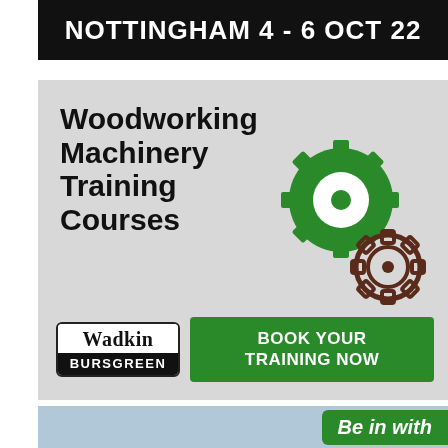[Figure (other): Dark banner with white bold text reading 'NOTTINGHAM 4 - 6 OCT 22']
[Figure (other): Advertisement for Wadkin Bursgreen Woodworking Machinery Training Courses on a light grey background with two gear icons and a 'BOOK YOUR TRAINING NOW' green button]
[Figure (other): Partial view of a third advertisement at the bottom with green element and text 'Be in with']